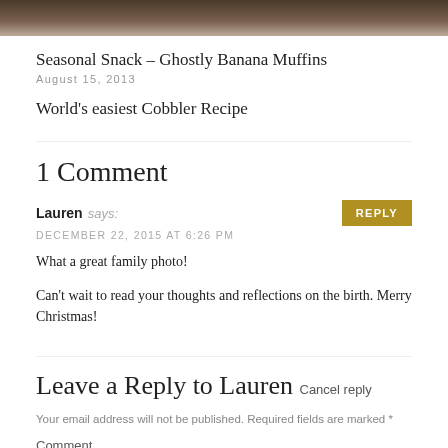[Figure (photo): Top portion of a food/lifestyle blog image with dark brown tones, cropped at the top]
Seasonal Snack – Ghostly Banana Muffins
August 15, 2013
World's easiest Cobbler Recipe
1 Comment
Lauren says:
DECEMBER 22, 2015 AT 6:26 PM
What a great family photo!
Can't wait to read your thoughts and reflections on the birth. Merry Christmas!
Leave a Reply to Lauren Cancel reply
Your email address will not be published. Required fields are marked *
Comment